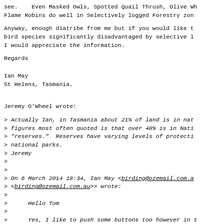see.    Even Masked Owls, Spotted Quail Thrush, Olive Wh
Flame Robins do well in Selectively logged Forestry zon
Anyway, enough diatribe from me but if you would like t
bird species significantly disadvantaged by selective l
I would appreciate the information.
Regards
Ian May
St Helens, Tasmania.
Jeremy O'Wheel wrote:
> Actually Ian, in Tasmania about 21% of land is in nat
> figures most often quoted is that over 40% is in Nati
> "reserves."  Reserves have varying levels of protecti
> national parks.
> Jeremy
>
>
> On 6 March 2014 18:34, Ian May <birding@ozemail.com.a
> <birding@ozemail.com.au>> wrote:
>
>      Hello Tom
>
>      Yes, I like to push some buttons too however in t